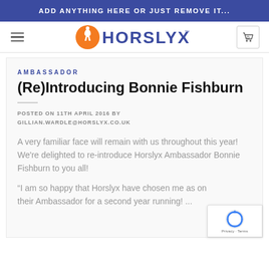ADD ANYTHING HERE OR JUST REMOVE IT...
[Figure (logo): Horslyx logo with orange horse-rider icon and blue bold text HORSLYX with TM mark]
AMBASSADOR
(Re)Introducing Bonnie Fishburn
POSTED ON 11TH APRIL 2016 BY GILLIAN.WARDLE@HORSLYX.CO.UK
A very familiar face will remain with us throughout this year! We're delighted to re-introduce Horslyx Ambassador Bonnie Fishburn to you all!
"I am so happy that Horslyx have chosen me as on their Ambassador for a second year running! ..."